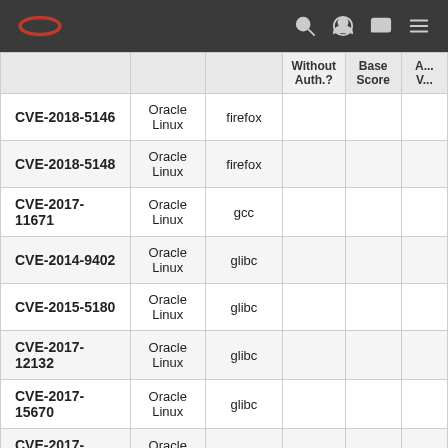Oracle logo and navigation icons
|  |  |  | Without Auth.? | Base Score | A... V... |
| --- | --- | --- | --- | --- | --- |
| CVE-2018-5146 | Oracle Linux | firefox |  |  |  |
| CVE-2018-5148 | Oracle Linux | firefox |  |  |  |
| CVE-2017-11671 | Oracle Linux | gcc |  |  |  |
| CVE-2014-9402 | Oracle Linux | glibc |  |  |  |
| CVE-2015-5180 | Oracle Linux | glibc |  |  |  |
| CVE-2017-12132 | Oracle Linux | glibc |  |  |  |
| CVE-2017-15670 | Oracle Linux | glibc |  |  |  |
| CVE-2017-15804 | Oracle Linux | glibc |  |  |  |
| CVE-2018-1000001 | Oracle Linux | glibc |  |  |  |